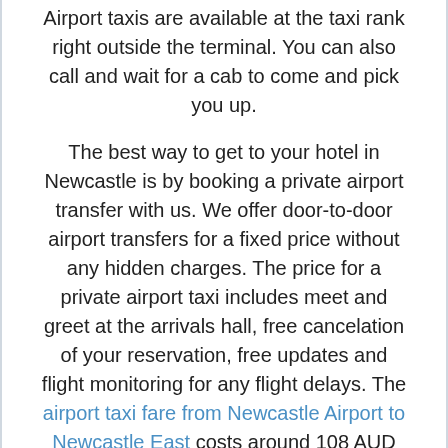Airport taxis are available at the taxi rank right outside the terminal. You can also call and wait for a cab to come and pick you up.
The best way to get to your hotel in Newcastle is by booking a private airport transfer with us. We offer door-to-door airport transfers for a fixed price without any hidden charges. The price for a private airport taxi includes meet and greet at the arrivals hall, free cancelation of your reservation, free updates and flight monitoring for any flight delays. The airport taxi fare from Newcastle Airport to Newcastle East costs around 108 AUD for two passengers. The transfer from Newcastle Airport to Newcastle West also costs around 108 AUD for two passengers.